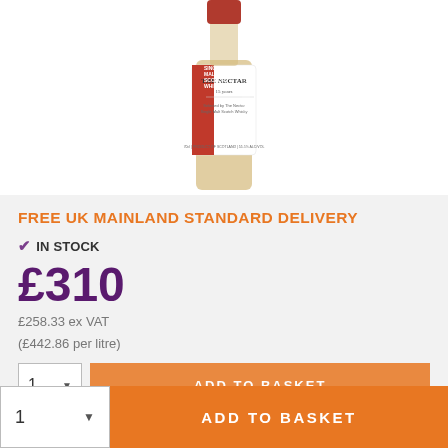[Figure (photo): Product photo of a whisky bottle with red and white label showing 'The Nectar 15 years' and 'Single Malt Scotch Whisky', bottle partially visible from mid-section down showing amber liquid]
FREE UK MAINLAND STANDARD DELIVERY
✓ IN STOCK
£310
£258.33 ex VAT
(£442.86 per litre)
ADD TO BASKET